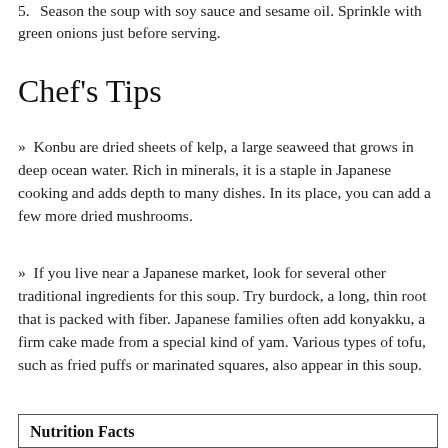5. Season the soup with soy sauce and sesame oil. Sprinkle with green onions just before serving.
Chef's Tips
»  Konbu are dried sheets of kelp, a large seaweed that grows in deep ocean water. Rich in minerals, it is a staple in Japanese cooking and adds depth to many dishes. In its place, you can add a few more dried mushrooms.
»  If you live near a Japanese market, look for several other traditional ingredients for this soup. Try burdock, a long, thin root that is packed with fiber. Japanese families often add konyakku, a firm cake made from a special kind of yam. Various types of tofu, such as fried puffs or marinated squares, also appear in this soup.
| Nutrition Facts |
| --- |